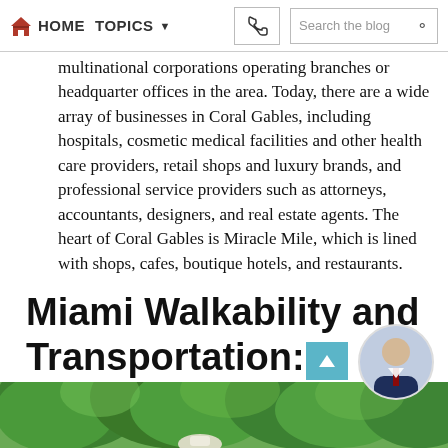HOME  TOPICS  Search the blog
multinational corporations operating branches or headquarter offices in the area. Today, there are a wide array of businesses in Coral Gables, including hospitals, cosmetic medical facilities and other health care providers, retail shops and luxury brands, and professional service providers such as attorneys, accountants, designers, and real estate agents. The heart of Coral Gables is Miracle Mile, which is lined with shops, cafes, boutique hotels, and restaurants.
Miami Walkability and Transportation: Coconut Grove vs Coral Gables
[Figure (photo): Photo strip at bottom of page showing green tree canopy and a person wearing a white cap]